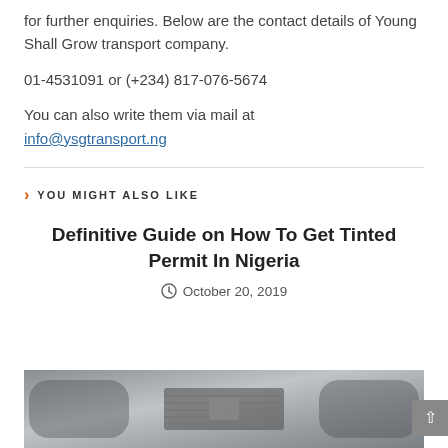for further enquiries. Below are the contact details of Young Shall Grow transport company.
01-4531091 or (+234) 817-076-5674
You can also write them via mail at
info@ysgtransport.ng
YOU MIGHT ALSO LIKE
Definitive Guide on How To Get Tinted Permit In Nigeria
October 20, 2019
[Figure (photo): Car interior dashboard/vents photo, partially visible at bottom of page]